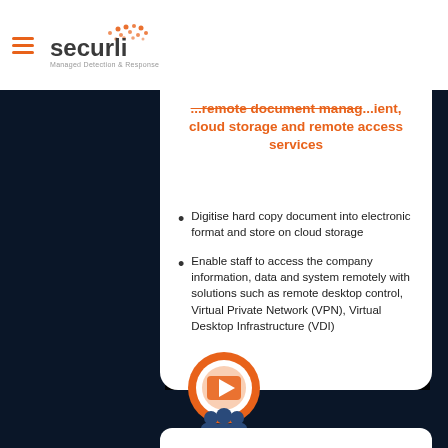securli — Managed Detection & Response
... remote document management, cloud storage and remote access services
Digitise hard copy document into electronic format and store on cloud storage
Enable staff to access the company information, data and system remotely with solutions such as remote desktop control, Virtual Private Network (VPN), Virtual Desktop Infrastructure (VDI)
[Figure (illustration): Video play button icon inside orange circle with audience silhouette below]